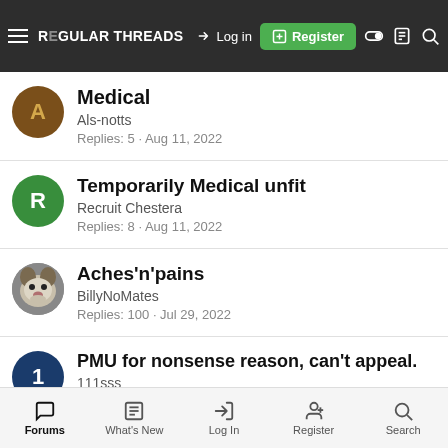REGULAR THREADS | Log in | Register
Medical
Als-notts
Replies: 5 · Aug 11, 2022
Temporarily Medical unfit
Recruit Chestera
Replies: 8 · Aug 11, 2022
Aches'n'pains
BillyNoMates
Replies: 100 · Jul 29, 2022
PMU for nonsense reason, can't appeal.
111sss
Replies: 15 · Jul 15, 2022
Forums | What's New | Log In | Register | Search